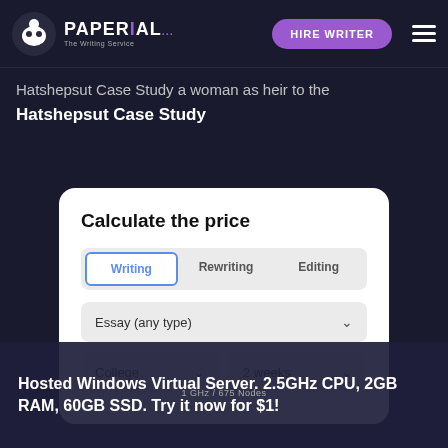PAPERIAL — HIRE WRITER
Hatshepsut Case Study a woman as heir to the
Hatshepsut Case Study
Calculate the price
Writing | Rewriting | Editing
Essay (any type)
College | 2 weeks
Hosted Windows Virtual Server. 2.5GHz CPU, 2GB RAM, 60GB SSD. Try it now for $1!